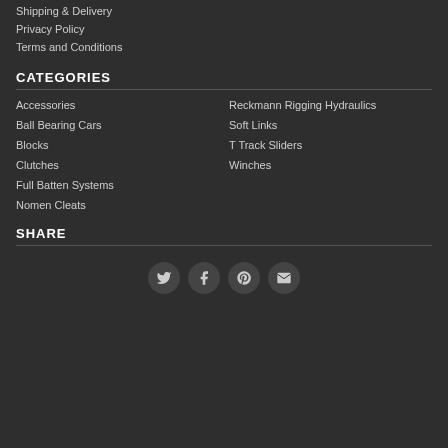Shipping & Delivery
Privacy Policy
Terms and Conditions
CATEGORIES
Accessories
Reckmann Rigging Hydraulics
Ball Bearing Cars
Soft Links
Blocks
T Track Sliders
Clutches
Winches
Full Batten Systems
Nomen Cleats
SHARE
[Figure (other): Social share icons: Twitter, Facebook, Pinterest, Email]